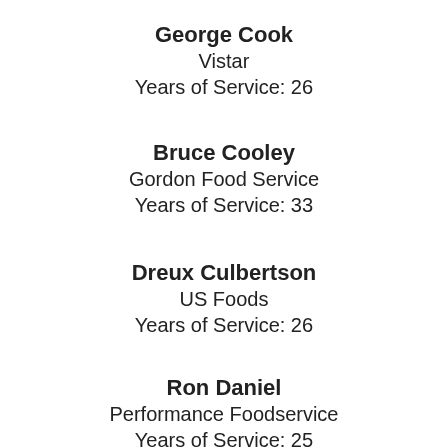George Cook
Vistar
Years of Service: 26
Bruce Cooley
Gordon Food Service
Years of Service: 33
Dreux Culbertson
US Foods
Years of Service: 26
Ron Daniel
Performance Foodservice
Years of Service: 25